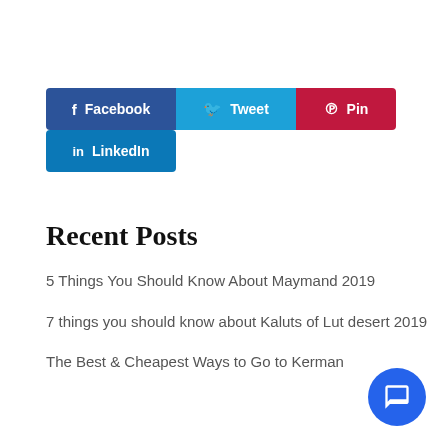[Figure (other): Social sharing buttons: Facebook (dark blue), Tweet (light blue), Pin (red/crimson), LinkedIn (blue) arranged in two rows]
Recent Posts
5 Things You Should Know About Maymand 2019
7 things you should know about Kaluts of Lut desert 2019
The Best & Cheapest Ways to Go to Kerman